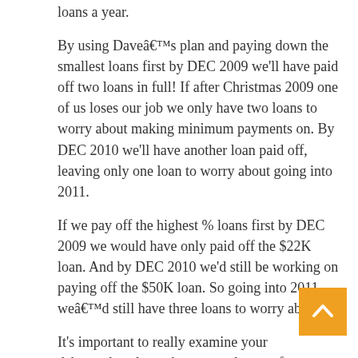loans a year.
By using Daveâ€™s plan and paying down the smallest loans first by DEC 2009 we'll have paid off two loans in full! If after Christmas 2009 one of us loses our job we only have two loans to worry about making minimum payments on. By DEC 2010 we'll have another loan paid off, leaving only one loan to worry about going into 2011.
If we pay off the highest % loans first by DEC 2009 we would have only paid off the $22K loan. And by DEC 2010 we'd still be working on paying off the $50K loan. So going into 2011 weâ€™d still have three loans to worry about.
It's important to really examine your debts and evaluate the pros and cons of all (three) snowball methods. situation Dave Ramsey's method works best.